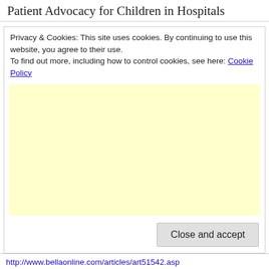Patient Advocacy for Children in Hospitals
Privacy & Cookies: This site uses cookies. By continuing to use this website, you agree to their use.
To find out more, including how to control cookies, see here: Cookie Policy
[Figure (other): Yellow/cream colored advertisement placeholder area]
Close and accept
http://www.bellaonline.com/articles/art51542.asp